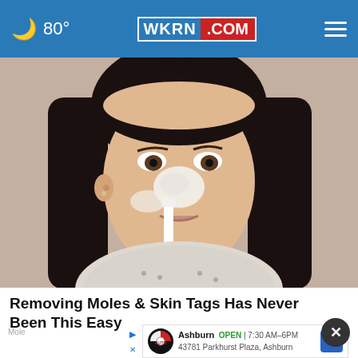🌙 80° | WKRN.COM
[Figure (photo): Woman applying white cream/paste to her nose and face area using a toothbrush, looking into camera]
Removing Moles & Skin Tags Has Never Been This Easy
Ashburn  OPEN  7:30 AM–6PM  43781 Parkhurst Plaza, Ashburn